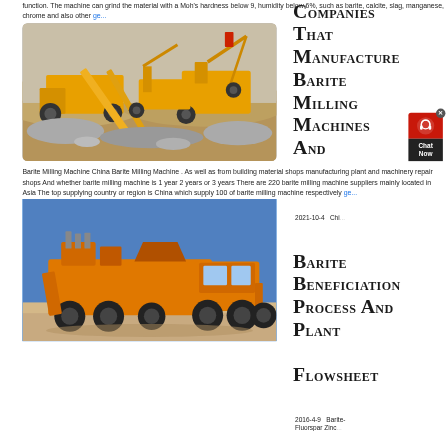function. The machine can grind the material with a Moh's hardness below 9, humidity below 6%, such as barite, calcite, slag, manganese, chrome and also other ge...
[Figure (photo): Aerial view of yellow heavy mining/crushing machinery equipment operating outdoors on rocky terrain]
Barite Milling Machine China Barite Milling Machine . As well as from building material shops manufacturing plant and machinery repair shops And whether barite milling machine is 1 year 2 years or 3 years There are 220 barite milling machine suppliers mainly located in Asia The top supplying country or region is China which supply 100 of barite milling machine respectively ge...
[Figure (photo): Large orange/yellow heavy industrial mobile crushing machinery on a truck, against blue sky background]
Companies That Manufacture Barite Milling Machines And
2021-10-4   Chi...
Barite Beneficiation Process And Plant Flowsheet
2016-4-9   Barite-Fluorspar Zinc...